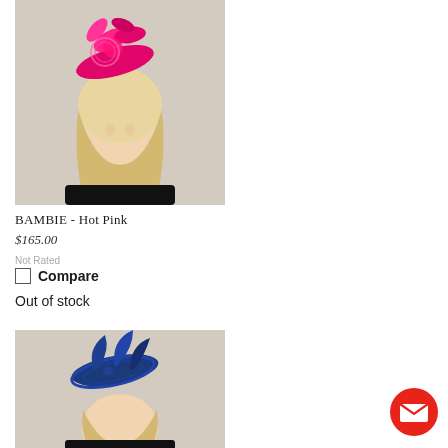[Figure (photo): Woman wearing a hot pink fascinator hat on a beige background]
BAMBIE - Hot Pink
$165.00
Not Rated
Compare
Out of stock
[Figure (photo): Woman wearing a navy blue fascinator hat on a beige background]
[Figure (illustration): Red circular email/contact button icon in bottom right corner]